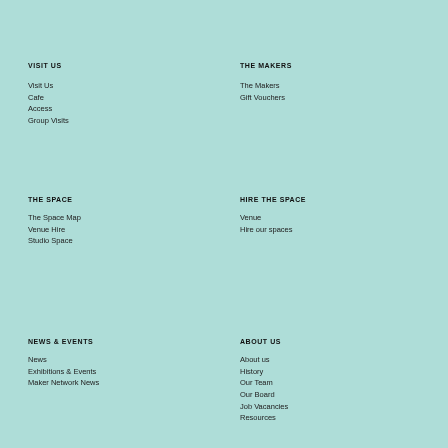VISIT US
Visit Us
Cafe
Access
Group Visits
THE MAKERS
The Makers
Gift Vouchers
THE SPACE
The Space Map
Venue Hire
Studio Space
HIRE THE SPACE
Venue
Hire our spaces
NEWS & EVENTS
News
Exhibitions & Events
Maker Network News
ABOUT US
About us
History
Our Team
Our Board
Job Vacancies
Resources